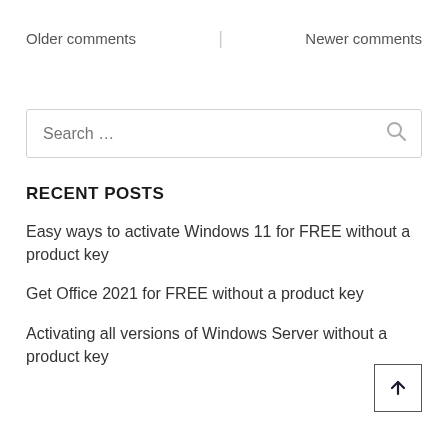Older comments | Newer comments
Search …
RECENT POSTS
Easy ways to activate Windows 11 for FREE without a product key
Get Office 2021 for FREE without a product key
Activating all versions of Windows Server without a product key